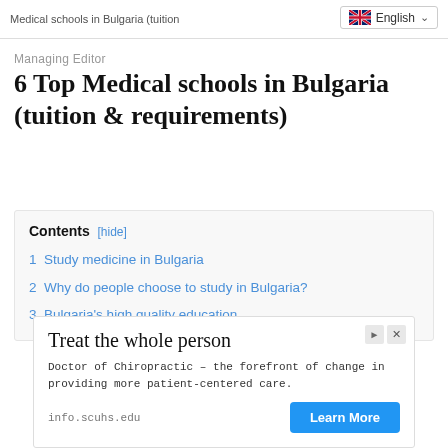Medical schools in Bulgaria (tuition  [English dropdown]
Managing Editor
6 Top Medical schools in Bulgaria (tuition & requirements)
Contents [hide]
1 Study medicine in Bulgaria
2 Why do people choose to study in Bulgaria?
3 Bulgaria’s high quality education
[Figure (other): Advertisement banner: Treat the whole person - Doctor of Chiropractic, info.scuhs.edu with Learn More button]